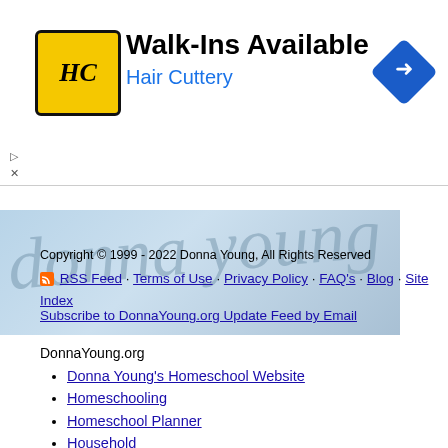[Figure (illustration): Hair Cuttery advertisement banner with HC logo, 'Walk-Ins Available' heading, 'Hair Cuttery' subtext in blue, and a blue diamond directional arrow icon]
[Figure (illustration): Decorative cursive script watermark image in light blue-gray tones as site footer background]
Copyright © 1999 - 2022 Donna Young, All Rights Reserved
RSS Feed · Terms of Use · Privacy Policy · FAQ's · Blog · Site Index
Subscribe to DonnaYoung.org Update Feed by Email
DonnaYoung.org
Donna Young's Homeschool Website
Homeschooling
Homeschool Planner
Household
Calendars
Art
English
Handwriting
History
Math
Science